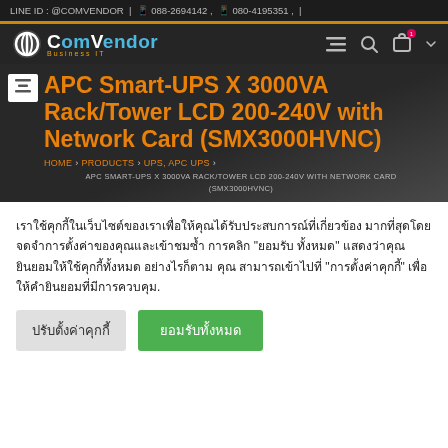LINE ID : @COMVENDOR | 088-2694142 , 080-4195351 ,
[Figure (logo): ComVendor Business IT logo with circular icon and blue/white text]
APC Smart-UPS X 3000VA Rack/Tower LCD 200-240V with Network Card (SMX3000HVNC)
HOME > PRODUCTS > UPS, APC UPS >
APC SMART-UPS X 3000VA RACK/TOWER LCD 200-240V WITH NETWORK CARD (SMX3000HVNC)
เราใช้คุกกี้ในเว็บไซต์ของเราเพื่อให้คุณได้รับประสบการณ์ที่เกี่ยวข้องมากที่สุดโดยจดจำการตั้งค่าของคุณและเข้าชมซ้ำ การคลิก "ยอมรับทั้งหมด" แสดงว่าคุณยินยอมให้ใช้คุกกี้ทั้งหมด อย่างไรก็ตาม คุณสามารถเข้าไปที่ "การตั้งค่าคุกกี้" เพื่อให้คำยินยอมที่มีการควบคุม.
ปรับตั้งค่าคุกกี้
ยอมรับทั้งหมด